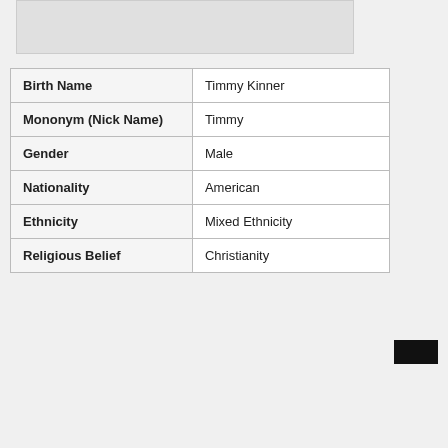[Figure (other): Gray photo/image placeholder box at top of page]
| Birth Name | Timmy Kinner |
| Mononym (Nick Name) | Timmy |
| Gender | Male |
| Nationality | American |
| Ethnicity | Mixed Ethnicity |
| Religious Belief | Christianity |